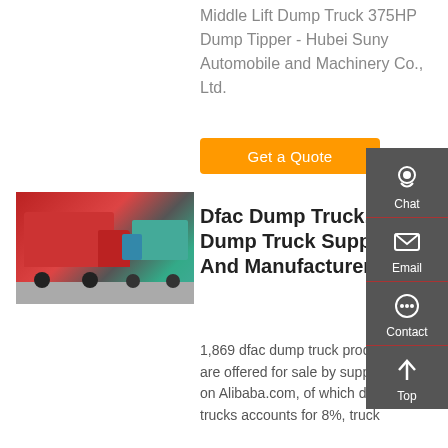Middle Lift Dump Truck 375HP Dump Tipper - Hubei Suny Automobile and Machinery Co., Ltd.
Get a Quote
[Figure (photo): Red HOWO dump trucks parked on a road with a blue/teal dump truck in the background, outdoor daytime scene.]
Dfac Dump Truck, Dfac Dump Truck Suppliers And Manufacturers At
1,869 dfac dump truck products are offered for sale by suppliers on Alibaba.com, of which dump trucks accounts for 8%, truck